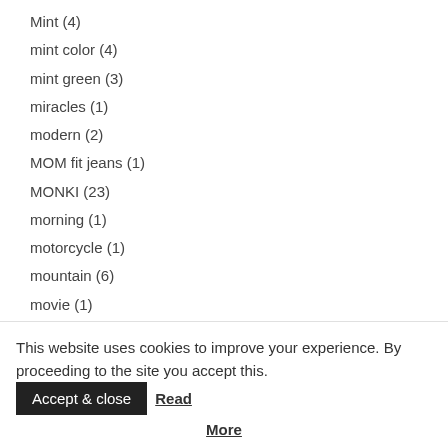Mint (4)
mint color (4)
mint green (3)
miracles (1)
modern (2)
MOM fit jeans (1)
MONKI (23)
morning (1)
motorcycle (1)
mountain (6)
movie (1)
must have (3)
mustard yellow (1)
NA-KD (4)
Napapijri (1)
This website uses cookies to improve your experience. By proceeding to the site you accept this. Accept & close Read More